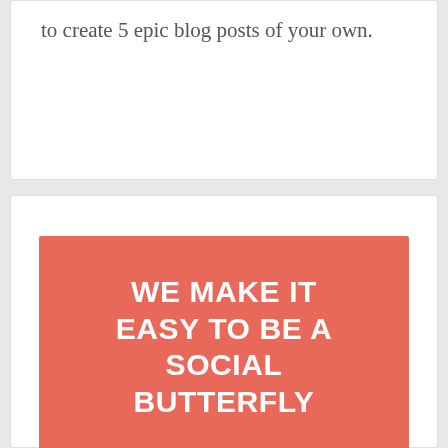to create 5 epic blog posts of your own.
[Figure (illustration): Red/coral banner with white bold uppercase text reading 'WE MAKE IT EASY TO BE A SOCIAL BUTTERFLY']
[Figure (illustration): Partial view of a coral/salmon colored circular face icon at the bottom of the page]